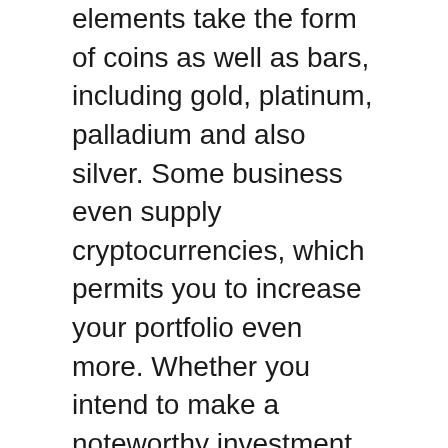elements take the form of coins as well as bars, including gold, platinum, palladium and also silver. Some business even supply cryptocurrencies, which permits you to increase your portfolio even more. Whether you intend to make a noteworthy investment to keep in a safe, purchase silver coins and bars to keep at home, rollover an existing pension, or organize a self routed IRA (or gold individual retirement account), gold investment companies can direct you along the way.
As a result of the recent media insurance coverage precious metals have received, extra business are beginning to provide solutions. Of course, with increased competitors comes much better deals for